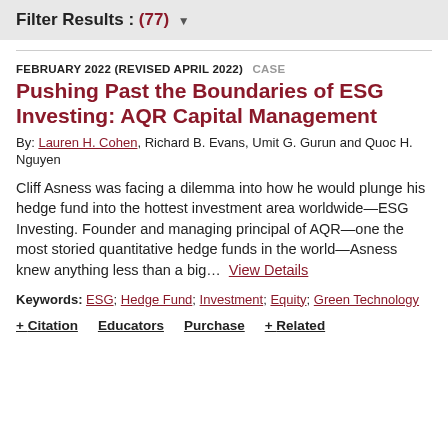Filter Results : (77) ▼
FEBRUARY 2022 (REVISED APRIL 2022)  CASE
Pushing Past the Boundaries of ESG Investing: AQR Capital Management
By: Lauren H. Cohen, Richard B. Evans, Umit G. Gurun and Quoc H. Nguyen
Cliff Asness was facing a dilemma into how he would plunge his hedge fund into the hottest investment area worldwide—ESG Investing. Founder and managing principal of AQR—one the most storied quantitative hedge funds in the world—Asness knew anything less than a big…  View Details
Keywords: ESG; Hedge Fund; Investment; Equity; Green Technology
+ Citation    Educators    Purchase    + Related